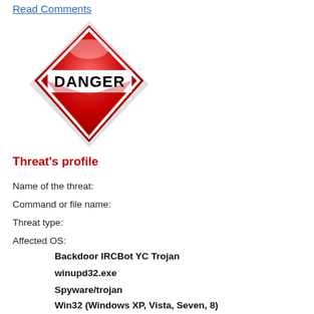Read Comments
[Figure (illustration): Red diamond-shaped DANGER warning sign with bold black text 'DANGER' in the center]
Threat's profile
Name of the threat:
Command or file name:
Threat type:
Affected OS:
Backdoor IRCBot YC Trojan
winupd32.exe
Spyware/trojan
Win32 (Windows XP, Vista, Seven, 8)